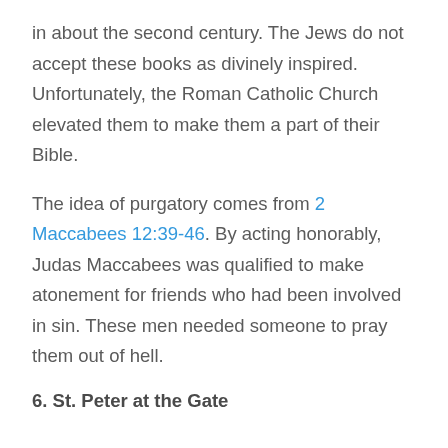in about the second century. The Jews do not accept these books as divinely inspired. Unfortunately, the Roman Catholic Church elevated them to make them a part of their Bible.
The idea of purgatory comes from 2 Maccabees 12:39-46. By acting honorably, Judas Maccabees was qualified to make atonement for friends who had been involved in sin. These men needed someone to pray them out of hell.
6. St. Peter at the Gate